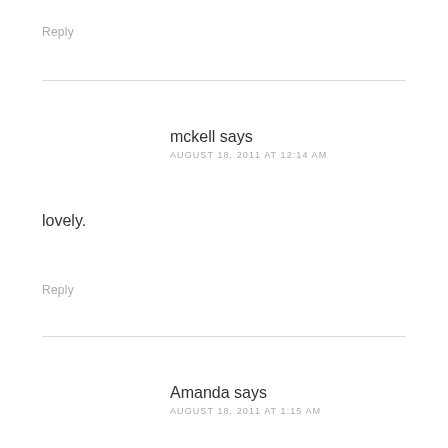Reply
mckell says
AUGUST 18, 2011 AT 12:14 AM
lovely.
Reply
Amanda says
AUGUST 18, 2011 AT 1:15 AM